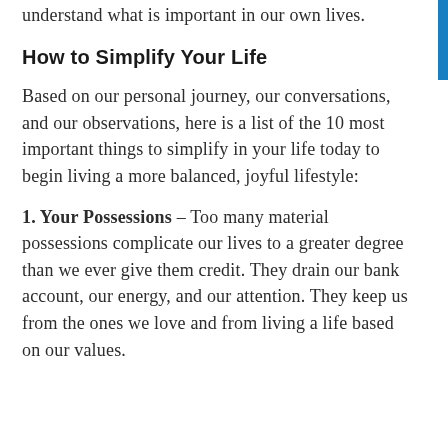Once we're able to answer that, we will understand what is important in our own lives.
How to Simplify Your Life
Based on our personal journey, our conversations, and our observations, here is a list of the 10 most important things to simplify in your life today to begin living a more balanced, joyful lifestyle:
1. Your Possessions – Too many material possessions complicate our lives to a greater degree than we ever give them credit. They drain our bank account, our energy, and our attention. They keep us from the ones we love and from living a life based on our values.